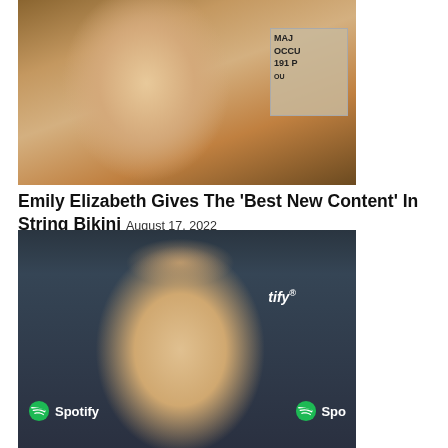[Figure (photo): Close-up selfie photo of a young blonde woman with long hair and makeup, outdoors near a sign partially visible on the right side reading MAJ, OCCU, 191 P]
Emily Elizabeth Gives The ‘Best New Content’ In String Bikini August 17, 2022
[Figure (photo): Photo of a blonde woman with hair pulled back in a high ponytail, wearing a black turtleneck, posed in front of a Spotify branded backdrop. Spotify logos visible on left and right.]